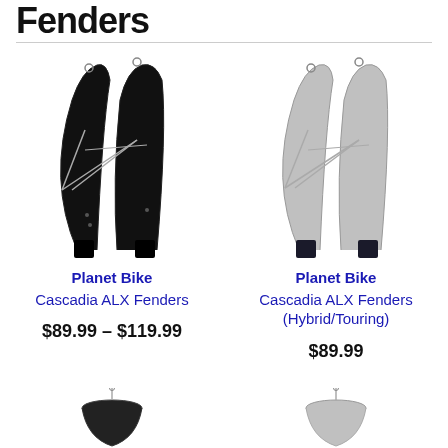Fenders
[Figure (photo): Black Planet Bike Cascadia ALX fenders set showing front and rear fenders with stays]
Planet Bike
Cascadia ALX Fenders
$89.99 – $119.99
[Figure (photo): Silver/grey Planet Bike Cascadia ALX fenders for Hybrid/Touring showing front and rear fenders with stays]
Planet Bike
Cascadia ALX Fenders (Hybrid/Touring)
$89.99
[Figure (photo): Partially visible fender product at bottom of page]
[Figure (photo): Partially visible fender product at bottom right of page]